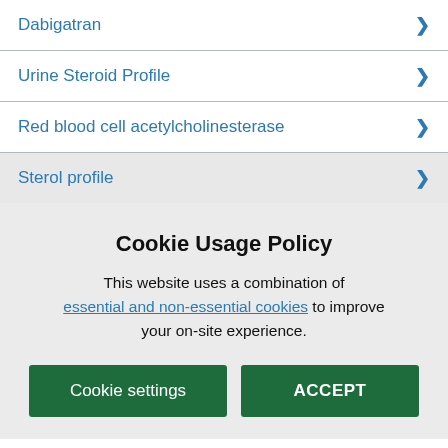Dabigatran
Urine Steroid Profile
Red blood cell acetylcholinesterase
Sterol profile
Cookie Usage Policy
This website uses a combination of essential and non-essential cookies to improve your on-site experience.
Cookie settings
ACCEPT